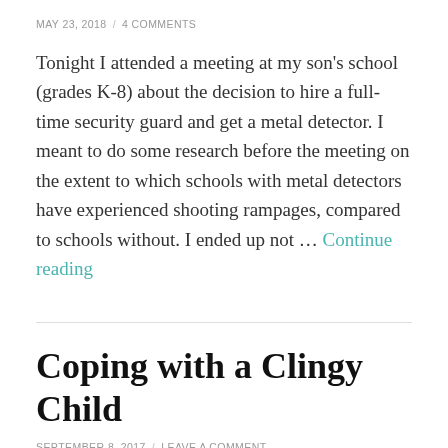MAY 23, 2018 / 4 COMMENTS
Tonight I attended a meeting at my son's school (grades K-8) about the decision to hire a full-time security guard and get a metal detector. I meant to do some research before the meeting on the extent to which schools with metal detectors have experienced shooting rampages, compared to schools without. I ended up not … Continue reading
Coping with a Clingy Child
SEPTEMBER 8, 2017 / LEAVE A COMMENT
As you may have guessed, raising a clingy child...